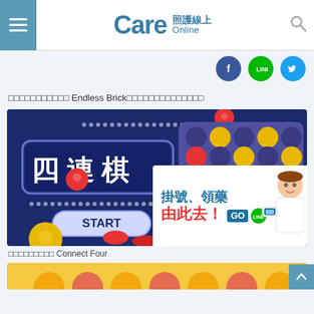Care照護線上 CareOnline
[Figure (screenshot): Social media icons row: Facebook (blue circle), LINE (green circle), Twitter (blue circle)]
□□□□□□□□□□□ Endless Brick□□□□□□□□□□□□□□
[Figure (screenshot): Connect Four (四連棋) game screenshot on dark blue background with red and yellow discs, showing START button]
□□□□□□□□□ Connect Four
[Figure (illustration): Popup advertisement: 掛號、領藥 由此去！GO with LINE icon and cartoon nurse character]
[Figure (photo): Partial bottom image with orange/yellow tones]